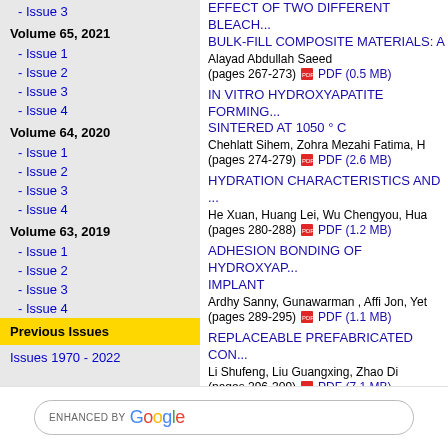- Issue 3
Volume 65, 2021
- Issue 1
- Issue 2
- Issue 3
- Issue 4
Volume 64, 2020
- Issue 1
- Issue 2
- Issue 3
- Issue 4
Volume 63, 2019
- Issue 1
- Issue 2
- Issue 3
- Issue 4
Previous Issues
Issues 1970 - 2022
EFFECT OF TWO DIFFERENT BLEACH... BULK-FILL COMPOSITE MATERIALS: A
Alayad Abdullah Saeed
(pages 267-273)  PDF (0.5 MB)
IN VITRO HYDROXYAPATITE FORMING... SINTERED AT 1050 ° C
Chehlatt Sihem, Zohra Mezahi Fatima, H
(pages 274-279)  PDF (2.6 MB)
HYDRATION CHARACTERISTICS AND ...
He Xuan, Huang Lei, Wu Chengyou, Hua
(pages 280-288)  PDF (1.2 MB)
ADHESION BONDING OF HYDROXYAP... IMPLANT
Ardhy Sanny, Gunawarman , Affi Jon, Yet
(pages 289-295)  PDF (1.1 MB)
REPLACEABLE PREFABRICATED CON...
Li Shufeng, Liu Guangxing, Zhao Di
(pages 296-309)  PDF (7.1 MB)
INFLUENCE OF THE CaO CONTENT IN... FOR LTCC APPLICATIONS
ENHANCED BY Google